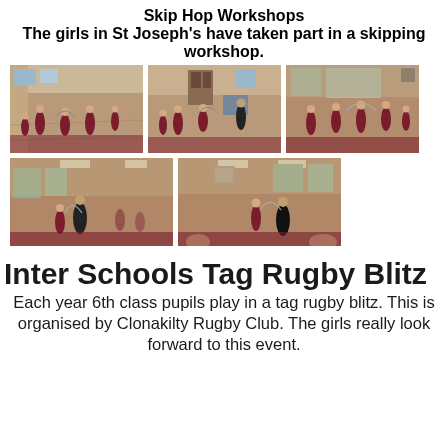Skip Hop Workshops
The girls in St Joseph's have taken part in a skipping workshop.
[Figure (photo): Five photos of girls in school uniforms participating in a skipping workshop in a gymnasium hall with wooden floors]
Inter Schools Tag Rugby Blitz
Each year 6th class pupils play in a tag rugby blitz. This is organised by Clonakilty Rugby Club. The girls really look forward to this event.